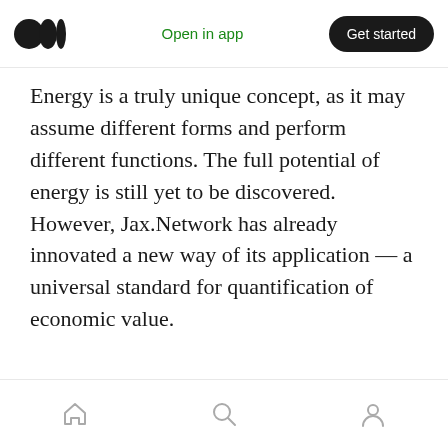Open in app | Get started
Energy is a truly unique concept, as it may assume different forms and perform different functions. The full potential of energy is still yet to be discovered. However, Jax.Network has already innovated a new way of its application — a universal standard for quantification of economic value.
· · ·
Don't miss any announcement by subscribing to our social media accounts:
Home | Search | Profile